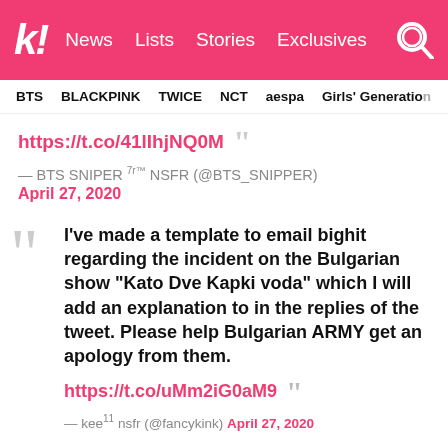k! News Lists Stories Exclusives
BTS BLACKPINK TWICE NCT aespa Girls' Generation
https://t.co/41lIhjNQ0M
— BTS SNIPER 7r™ NSFR (@BTS_SNIPPER)
April 27, 2020
I've made a template to email bighit regarding the incident on the Bulgarian show "Kato Dve Kapki voda" which I will add an explanation to in the replies of the tweet. Please help Bulgarian ARMY get an apology from them. https://t.co/uMm2iG0aM9
— kee¹¹ nsfr (@fancykink) April 27, 2020